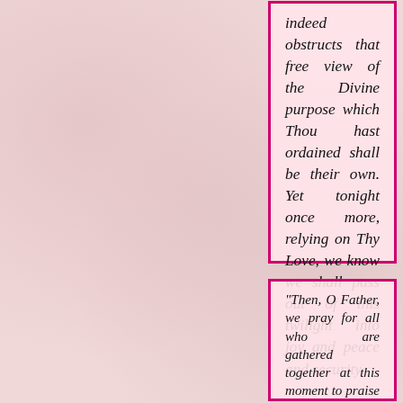indeed obstructs that free view of the Divine purpose which Thou hast ordained shall be their own. Yet tonight once more, relying on Thy Love, we know we shall pass out of this twilight into joy and peace and security.
"Then, O Father, we pray for all who are gathered together at this moment to praise Thy Name; to listen to the words of those who seek to show others how to find Thee - how to make their own the consciousness of Thy unfailing Love and care. Bless each one and minister unto their needs; comfort the heart-broken, strengthen the weary, and grant that those who teach Thy Word may indeed reveal something of the precious Truth which has been entrusted to them.